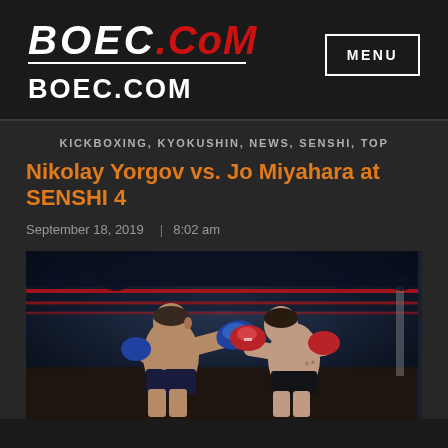[Figure (logo): BOEC.COM logo with white italic bold BOEC text and red .COM text, underline, and BOEC.COM text below]
MENU
KICKBOXING, KYOKUSHIN, NEWS, SENSHI, TOP
Nikolay Yorgov vs. Jo Miyahara at SENSHI 4
September 18, 2019    | 8:02 am
[Figure (photo): Two fighters in a boxing ring. Left fighter (shirtless, blue gloves) punching toward right fighter (shirtless, red/white gloves). Dark arena background with red ropes visible.]